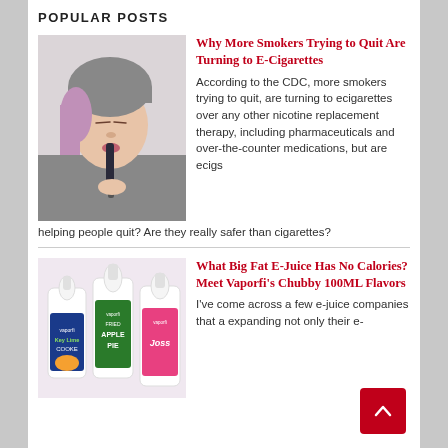POPULAR POSTS
[Figure (photo): Young woman with purple hair and grey knit beanie using an e-cigarette/vape device, eyes closed, white background]
Why More Smokers Trying to Quit Are Turning to E-Cigarettes
According to the CDC, more smokers trying to quit, are turning to ecigarettes over any other nicotine replacement therapy, including pharmaceuticals and over-the-counter medications, but are ecigs helping people quit? Are they really safer than cigarettes?
[Figure (photo): Three large e-juice bottles by Vaporfi: Key Lime Cookie, Fried Apple Pie, and a pink-labeled flavor]
What Big Fat E-Juice Has No Calories? Meet Vaporfi's Chubby 100ML Flavors
I've come across a few e-juice companies that are expanding not only their e-